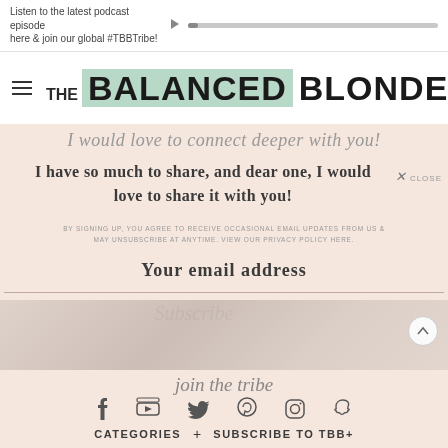Listen to the latest podcast episode here & join our global #TBBTribe!
THE BALANCED BLONDE
I would love to connect deeper with you!
I have so much to share, and dear one, I would love to share it with you!
BY SIGNING UP, YOU AGREE TO RECEIVE OCCASIONAL EMAIL UPDATES FROM US & MAY UNSUBSCRIBE AT ANYTIME. VIEW OUR PRIVACY POLICY HERE.
Your email address
Subscribe
[Figure (photo): Blurred photo background showing a face/person]
join the tribe
CATEGORIES + SUBSCRIBE TO TBB+